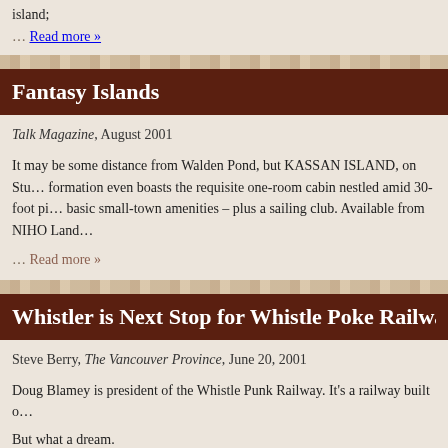island;
… Read more »
Fantasy Islands
Talk Magazine, August 2001
It may be some distance from Walden Pond, but KASSAN ISLAND, on Stu… formation even boasts the requisite one-room cabin nestled amid 30-foot pi… basic small-town amenities – plus a sailing club. Available from NIHO Land…
… Read more »
Whistler is Next Stop for Whistle Poke Railway…
Steve Berry, The Vancouver Province, June 20, 2001
Doug Blamey is president of the Whistle Punk Railway. It's a railway built o…
But what a dream.
The Maple Ridge man is proposing to build a rail line from Pitt Meadows to…
… Read more »